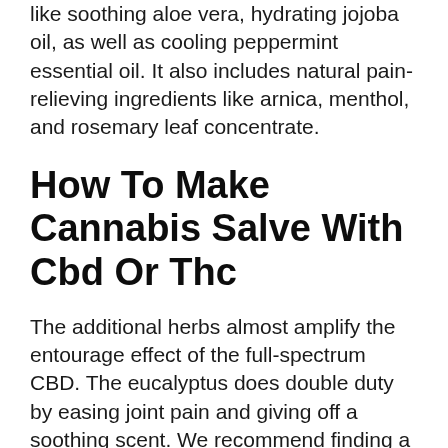like soothing aloe vera, hydrating jojoba oil, as well as cooling peppermint essential oil. It also includes natural pain-relieving ingredients like arnica, menthol, and rosemary leaf concentrate.
How To Make Cannabis Salve With Cbd Or Thc
The additional herbs almost amplify the entourage effect of the full-spectrum CBD. The eucalyptus does double duty by easing joint pain and giving off a soothing scent. We recommend finding a CBD cream that's formulated to contain hemp seed oil or borage oil. The high gamma linoleic Delta 8 Cartridges acid in these carrier oils is excellent for restoring the vibrancy to overly